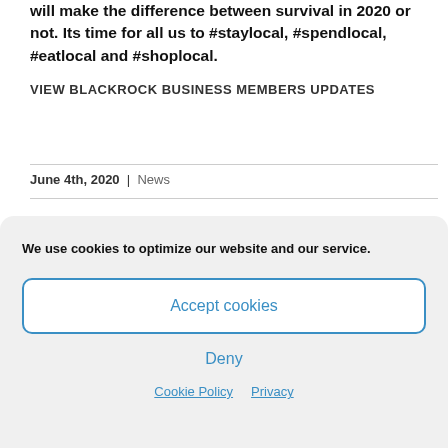will make the difference between survival in 2020 or not. Its time for all us to #staylocal, #spendlocal, #eatlocal and #shoplocal.
VIEW BLACKROCK BUSINESS MEMBERS UPDATES
June 4th, 2020  |  News
We use cookies to optimize our website and our service.
Accept cookies
Deny
Cookie Policy  Privacy